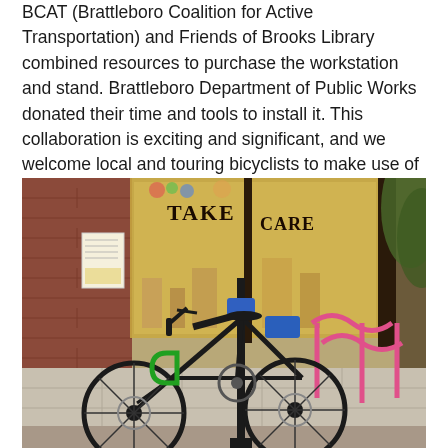BCAT (Brattleboro Coalition for Active Transportation) and Friends of Brooks Library combined resources to purchase the workstation and stand. Brattleboro Department of Public Works donated their time and tools to install it. This collaboration is exciting and significant, and we welcome local and touring bicyclists to make use of it!
[Figure (photo): A black bicycle locked to a repair stand on a sidewalk in front of a brick building with store windows. A green U-lock secures the bike. Pink bicycle racks are visible to the right. The storefront windows display 'TAKE CARE' signage.]